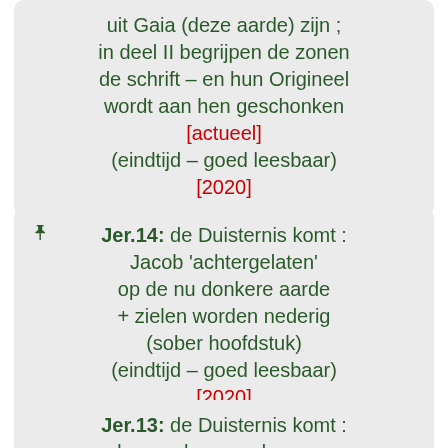uit Gaia (deze aarde) zijn ; in deel II begrijpen de zonen de schrift – en hun Origineel wordt aan hen geschonken [actueel] (eindtijd – goed leesbaar) [2020]
Jer.14: de Duisternis komt : Jacob 'achtergelaten' op de nu donkere aarde + zielen worden nederig (sober hoofdstuk) (eindtijd – goed leesbaar) [2020]
Jer.13: de Duisternis komt : daarom kunnen de zonen